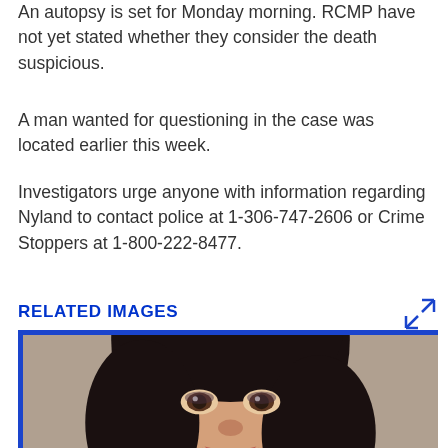An autopsy is set for Monday morning. RCMP have not yet stated whether they consider the death suspicious.
A man wanted for questioning in the case was located earlier this week.
Investigators urge anyone with information regarding Nyland to contact police at 1-306-747-2606 or Crime Stoppers at 1-800-222-8477.
RELATED IMAGES
[Figure (photo): Portrait photo of a smiling woman with dark hair]